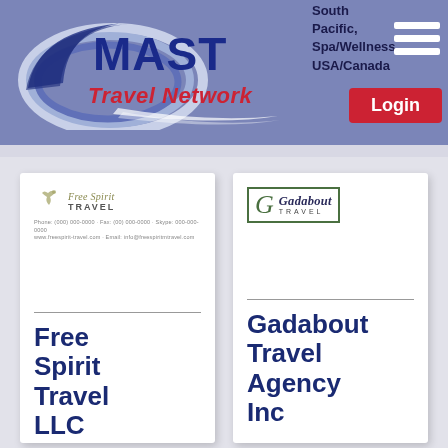[Figure (logo): MAST Travel Network logo with blue swoosh and red italic text 'Travel Network']
South Pacific, Spa/Wellness, USA/Canada
[Figure (other): Hamburger menu icon (three white horizontal lines)]
Login
[Figure (logo): Free Spirit Travel logo with bird and contact details letterhead]
Free Spirit Travel LLC
[Figure (logo): Gadabout Travel logo in green square border with stylized G]
Gadabout Travel Agency Inc